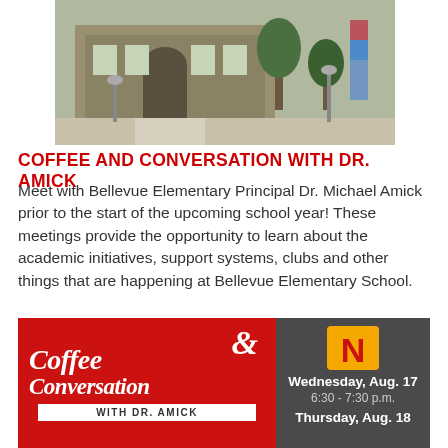[Figure (photo): Exterior photo of Bellevue Elementary School building with brick facade, entrance steps, and trees in front]
COFFEE AND CONVERSATION WITH DR. AMICK
Meet with Bellevue Elementary Principal Dr. Michael Amick prior to the start of the upcoming school year! These meetings provide the opportunity to learn about the academic initiatives, support systems, clubs and other things that are happening at Bellevue Elementary School.
[Figure (infographic): Event banner: left red panel with Coffee & Conversation with Dr. Amick script text; right dark gray panel with N logo and Wednesday, Aug. 17, 6:30 - 7:30 p.m., Thursday, Aug. 18]